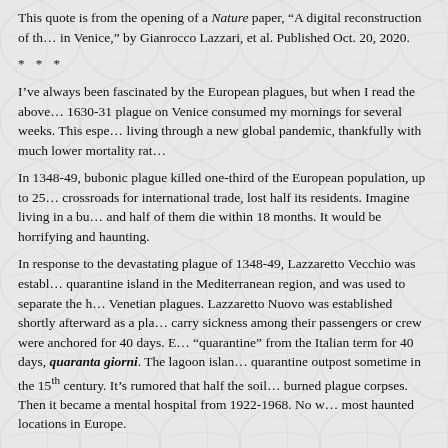This quote is from the opening of a Nature paper, “A digital reconstruction of th… in Venice,” by Gianrocco Lazzari, et al. Published Oct. 20, 2020.
* * *
I’ve always been fascinated by the European plagues, but when I read the above… 1630-31 plague on Venice consumed my mornings for several weeks. This espe… living through a new global pandemic, thankfully with much lower mortality rat…
In 1348-49, bubonic plague killed one-third of the European population, up to 25… crossroads for international trade, lost half its residents. Imagine living in a bu… and half of them die within 18 months. It would be horrifying and haunting.
In response to the devastating plague of 1348-49, Lazzaretto Vecchio was establ… quarantine island in the Mediterranean region, and was used to separate the h… Venetian plagues. Lazzaretto Nuovo was established shortly afterward as a pla… carry sickness among their passengers or crew were anchored for 40 days. E… “quarantine” from the Italian term for 40 days, quaranta giorni. The lagoon islan… quarantine outpost sometime in the 15th century. It’s rumored that half the soil… burned plague corpses. Then it became a mental hospital from 1922-1968. No w… most haunted locations in Europe.